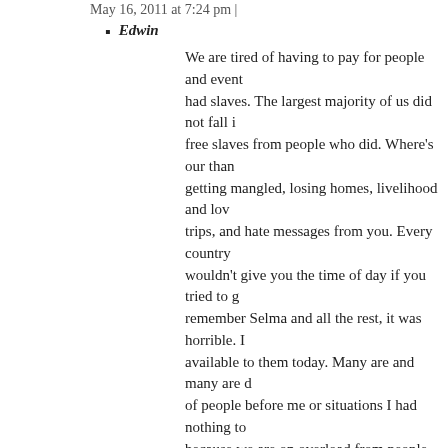May 16, 2011 at 7:24 pm |
Edwin
We are tired of having to pay for people and events... had slaves. The largest majority of us did not fall ... free slaves from people who did. Where's our than... getting mangled, losing homes, livelihood and lo... trips, and hate messages from you. Every country ... wouldn't give you the time of day if you tried to g... remember Selma and all the rest, it was horrible. I... available to them today. Many are and many are d... of people before me or situations I had nothing to... because we are on overload from people who wan...
May 14, 2011 at 9:48 am |
Bob
wow – the pro-amnesty spammers are out in force, trying to cr... touch of McCarthyism labeling anyone who doesnt agree with...
Citizen, you helped beat this back countless times in the last d... had the Amnesty bills of 2006 or 2007 passed, with 400,000 n... all, think how bad the unemployment and budget figures woul...
Join NumbersUSA today, just google it! – it's free, fast, and yo... amendments they try to slide past you, and you'll have faxes re...